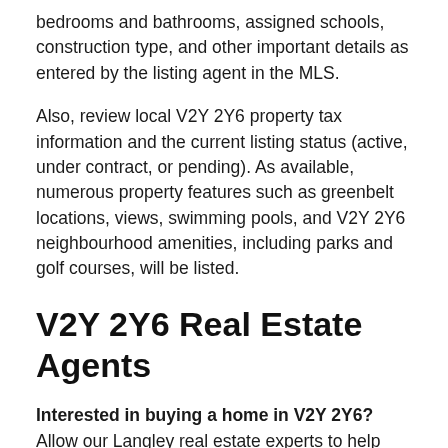bedrooms and bathrooms, assigned schools, construction type, and other important details as entered by the listing agent in the MLS.
Also, review local V2Y 2Y6 property tax information and the current listing status (active, under contract, or pending). As available, numerous property features such as greenbelt locations, views, swimming pools, and V2Y 2Y6 neighbourhood amenities, including parks and golf courses, will be listed.
V2Y 2Y6 Real Estate Agents
Interested in buying a home in V2Y 2Y6? Allow our Langley real estate experts to help you navigate the purchase of or expertly negotiate the sale of your V2Y 2Y6 residence. As local real estate agents, we're well versed in